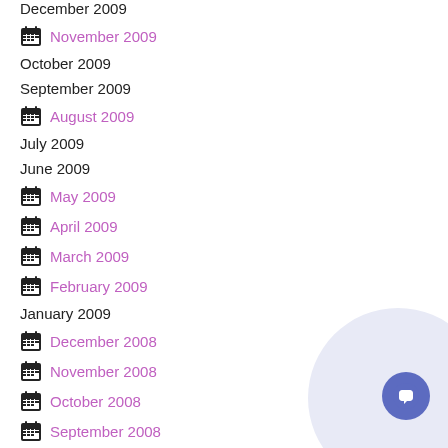December 2009
November 2009
October 2009
September 2009
August 2009
July 2009
June 2009
May 2009
April 2009
March 2009
February 2009
January 2009
December 2008
November 2008
October 2008
September 2008
Tag Cloud
cWhois
cWhoisdomain...